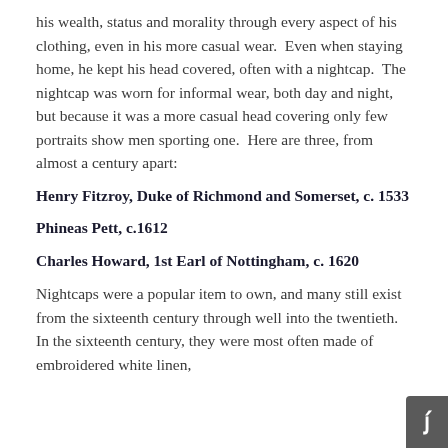his wealth, status and morality through every aspect of his clothing, even in his more casual wear.  Even when staying home, he kept his head covered, often with a nightcap.  The nightcap was worn for informal wear, both day and night, but because it was a more casual head covering only few portraits show men sporting one.  Here are three, from almost a century apart:
Henry Fitzroy, Duke of Richmond and Somerset, c. 1533
Phineas Pett, c.1612
Charles Howard, 1st Earl of Nottingham, c. 1620
Nightcaps were a popular item to own, and many still exist from the sixteenth century through well into the twentieth.  In the sixteenth century, they were most often made of embroidered white linen,